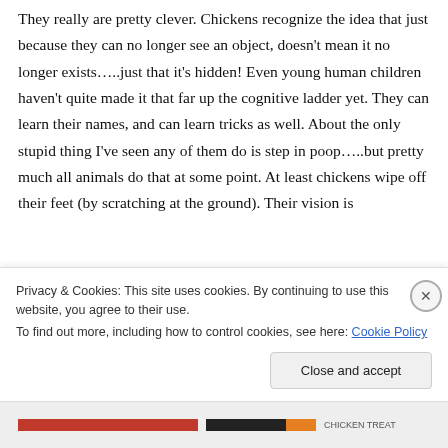They really are pretty clever. Chickens recognize the idea that just because they can no longer see an object, doesn't mean it no longer exists…..just that it's hidden! Even young human children haven't quite made it that far up the cognitive ladder yet. They can learn their names, and can learn tricks as well. About the only stupid thing I've seen any of them do is step in poop…..but pretty much all animals do that at some point. At least chickens wipe off their feet (by scratching at the ground). Their vision is
Privacy & Cookies: This site uses cookies. By continuing to use this website, you agree to their use.
To find out more, including how to control cookies, see here: Cookie Policy
Close and accept